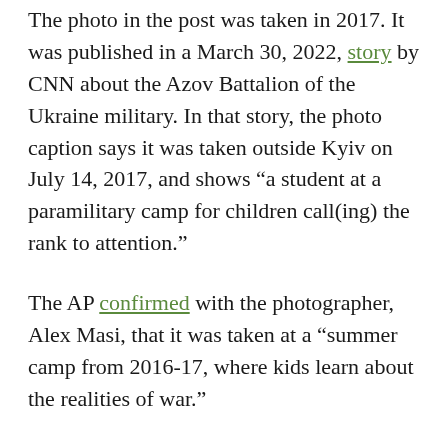The photo in the post was taken in 2017. It was published in a March 30, 2022, story by CNN about the Azov Battalion of the Ukraine military. In that story, the photo caption says it was taken outside Kyiv on July 14, 2017, and shows “a student at a paramilitary camp for children call(ing) the rank to attention.”
The AP confirmed with the photographer, Alex Masi, that it was taken at a “summer camp from 2016-17, where kids learn about the realities of war.”